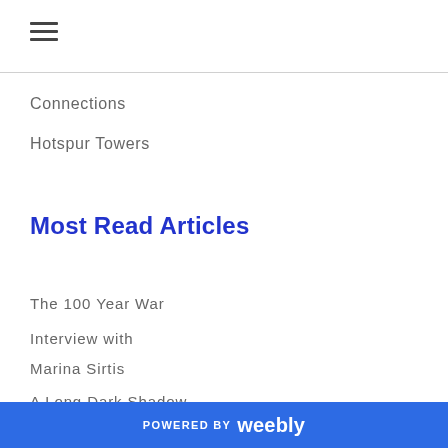☰ (hamburger menu icon)
Connections
Hotspur Towers
Most Read Articles
The 100 Year War
Interview with Marina Sirtis
A Long Dark Shadow
By Royal
POWERED BY weebly